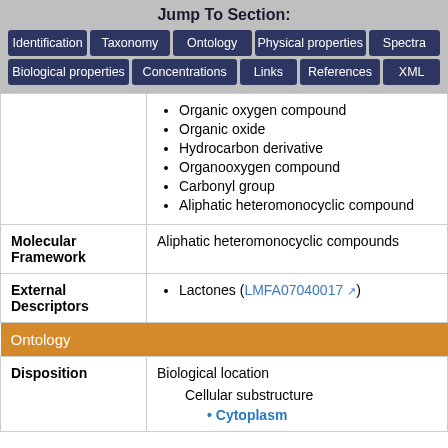Jump To Section:
Identification | Taxonomy | Ontology | Physical properties | Spectra | Biological properties | Concentrations | Links | References | XML
|  |  |
| --- | --- |
|  | Organic oxygen compound
Organic oxide
Hydrocarbon derivative
Organooxygen compound
Carbonyl group
Aliphatic heteromonocyclic compound |
| Molecular Framework | Aliphatic heteromonocyclic compounds |
| External Descriptors | Lactones (LMFA07040017) |
| Ontology |  |
| Disposition | Biological location
Cellular substructure
Cytoplasm |